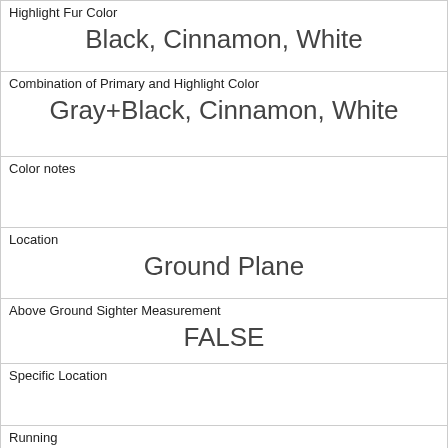| Highlight Fur Color | Black, Cinnamon, White |
| Combination of Primary and Highlight Color | Gray+Black, Cinnamon, White |
| Color notes |  |
| Location | Ground Plane |
| Above Ground Sighter Measurement | FALSE |
| Specific Location |  |
| Running | 0 |
| Chasing | 0 |
| Climbing | 0 |
| Eating | 1 |
| Foraging |  |